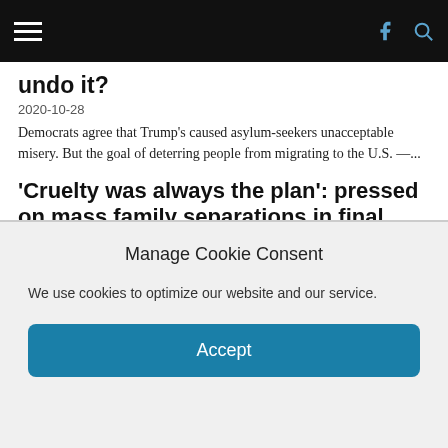Navigation bar with hamburger menu, Facebook and search icons
undo it?
2020-10-28
Democrats agree that Trump's caused asylum-seekers unacceptable misery. But the goal of deterring people from migrating to the U.S. —...
'Cruelty was always the plan': pressed on mass family separations in final debate, Trump smears victims as 'bad people'
2020-10-23
"The Trump immigration agenda is defined by cruelty: it's responsible for six children dying in cages, forced women into unnecessary...
Native American man shot protesting Trump border wall, others tear gassed, arrested by US agents on
Manage Cookie Consent
We use cookies to optimize our website and our service.
Accept